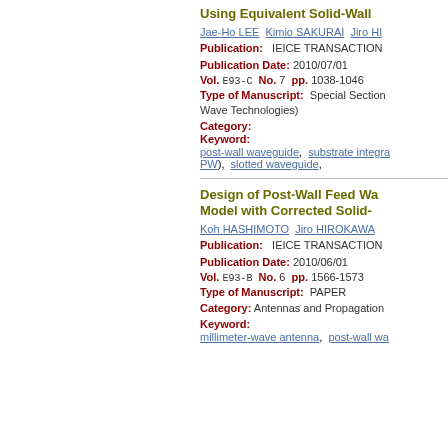Using Equivalent Solid-Wall...
Jae-Ho LEE  Kimio SAKURAI  Jiro HI...
Publication:   IEICE TRANSACTION...
Publication Date: 2010/07/01
Vol. E93-C  No. 7  pp. 1038-1046
Type of Manuscript:  Special Section... Wave Technologies)
Category:
Keyword:
post-wall waveguide,  substrate integra... PW),  slotted waveguide,
Design of Post-Wall Feed Wa... Model with Corrected Solid-...
Koh HASHIMOTO  Jiro HIROKAWA
Publication:   IEICE TRANSACTION...
Publication Date: 2010/06/01
Vol. E93-B  No. 6  pp. 1566-1573
Type of Manuscript:  PAPER
Category: Antennas and Propagation
Keyword:
millimeter-wave antenna,  post-wall wa...